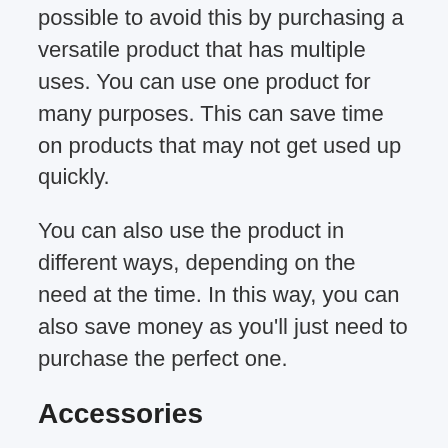possible to avoid this by purchasing a versatile product that has multiple uses. You can use one product for many purposes. This can save time on products that may not get used up quickly.
You can also use the product in different ways, depending on the need at the time. In this way, you can also save money as you'll just need to purchase the perfect one.
Accessories
When you are planning to buy a 1/4″ Leather Leashes For Dogs, you will definitely think of the accessories availability in the market. Because anytime soon, it may cause damages due to unwanted accidents at any stage of its usages.